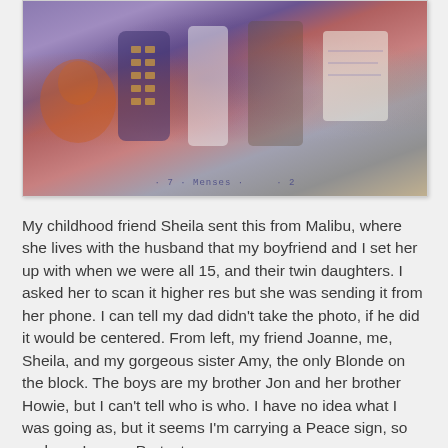[Figure (photo): Old photograph showing a group of children in Halloween costumes. A jack-o-lantern is visible on the left. Children are dressed in various costumes including what appears to be a minion-like costume. There is handwritten text at the bottom of the photo.]
My childhood friend Sheila sent this from Malibu, where she lives with the husband that my boyfriend and I set her up with when we were all 15, and their twin daughters. I asked her to scan it higher res but she was sending it from her phone. I can tell my dad didn't take the photo, if he did it would be centered. From left, my friend Joanne, me, Sheila, and my gorgeous sister Amy, the only Blonde on the block. The boys are my brother Jon and her brother Howie, but I can't tell who is who. I have no idea what I was going as, but it seems I'm carrying a Peace sign, so perhaps I was a Protester.